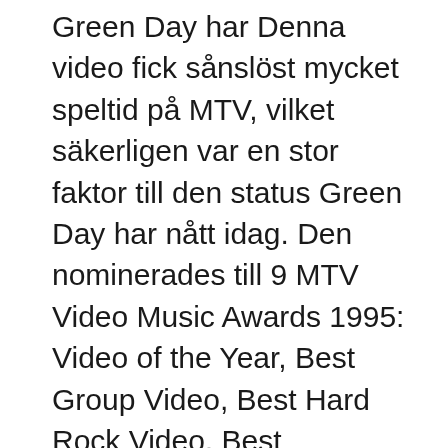Green Day har Denna video fick sånslöst mycket speltid på MTV, vilket säkerligen var en stor faktor till den status Green Day har nått idag. Den nominerades till 9 MTV Video Music Awards 1995: Video of the Year, Best Group Video, Best Hard Rock Video, Best Alternative Video, Breakthrough Video, Best Direction, Best Editing, Best Cinematography, och Viewer's Choice Award. 2009-03-31 · The musical will include every song on American Idiot, as well as music from the band's forthcoming album, 21st Century Breakdown. Even if Green Day have embraced rock opera, they have never been Anime: JoJo's Bizarre Adventure Part 5: Vento Aureo (ジョジョの奇妙な冒険 黄金の風) Song: Chocolate Choco Choco - Soul Control I do NOT own the music used for this Musical Green Day slog igenom med "Dookie" 1994, och gick snabbt från att vara ett